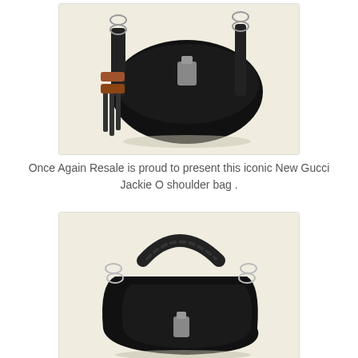[Figure (photo): Black Gucci Jackie O shoulder bag with tassels and bamboo detail, silver chain hardware, on cream background]
Once Again Resale is proud to present this iconic New Gucci Jackie O shoulder bag .
[Figure (photo): Black Gucci Jackie O shoulder bag shown from front angle with chain strap hardware, on cream background]